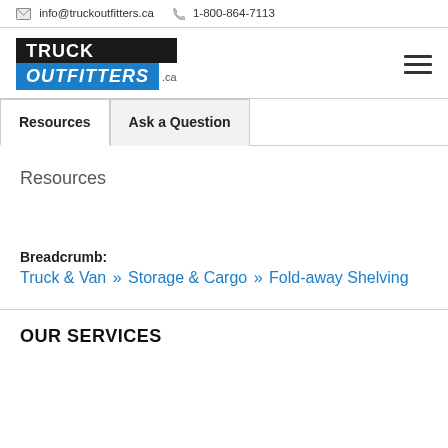info@truckoutfitters.ca  1-800-864-7113
[Figure (logo): Truck Outfitters .ca logo with black background for TRUCK and blue background for OUTFITTERS]
Resources  Ask a Question
Resources
Breadcrumb: Truck & Van » Storage & Cargo » Fold-away Shelving
OUR SERVICES